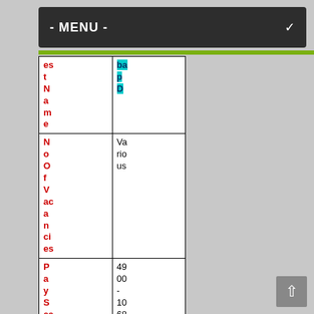- MENU -
| PostName | CaupD |
| --- | --- |
| NoOfVacancies | Various |
| PayScale | 4900-10680/-WithGP |